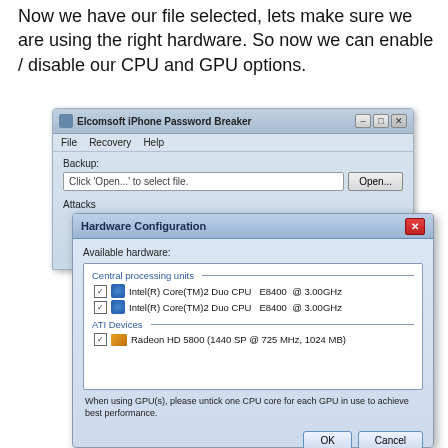Now we have our file selected, lets make sure we are using the right hardware. So now we can enable / disable our CPU and GPU options.
[Figure (screenshot): Screenshot of Elcomsoft iPhone Password Breaker application window with a Hardware Configuration dialog box open, showing checkboxes for CPU and GPU hardware options including Intel Core 2 Duo CPU E8400 and ATI Radeon HD 5800.]